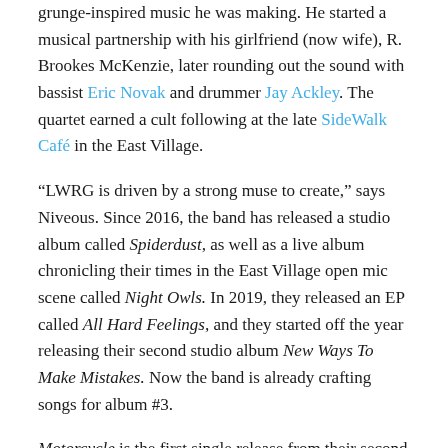grunge-inspired music he was making. He started a musical partnership with his girlfriend (now wife), R. Brookes McKenzie, later rounding out the sound with bassist Eric Novak and drummer Jay Ackley. The quartet earned a cult following at the late SideWalk Café in the East Village.
“LWRG is driven by a strong muse to create,” says Niveous. Since 2016, the band has released a studio album called Spiderdust, as well as a live album chronicling their times in the East Village open mic scene called Night Owls. In 2019, they released an EP called All Hard Feelings, and they started off the year releasing their second studio album New Ways To Make Mistakes. Now the band is already crafting songs for album #3.
Motorcycle is the first single release from their second studio album, New Ways To Make Mistakes.